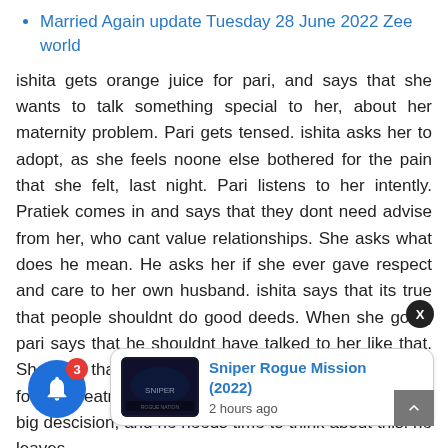Married Again update Tuesday 28 June 2022 Zee world
ishita gets orange juice for pari, and says that she wants to talk something special to her, about her maternity problem. Pari gets tensed. ishita asks her to adopt, as she feels noone else bothered for the pain that she felt, last night. Pari listens to her intently. Pratiek comes in and says that they dont need advise from her, who cant value relationships. She asks what does he mean. He asks her if she ever gave respect and care to her own husband. ishita says that its true that people shouldnt do good deeds. When she goes, pari says that he shouldnt have talked to her like that. She says that she likes ishita's option, as she cant wait for the treatment to succeed. Prateik says that this is big descision, and he needs time to think about this. he leaves.
[Figure (other): Notification bell icon with badge showing 3, blue circle]
[Figure (other): Sniper Rogue Mission (2022) promotional card with movie poster thumbnail, title in blue, and '2 hours ago' timestamp]